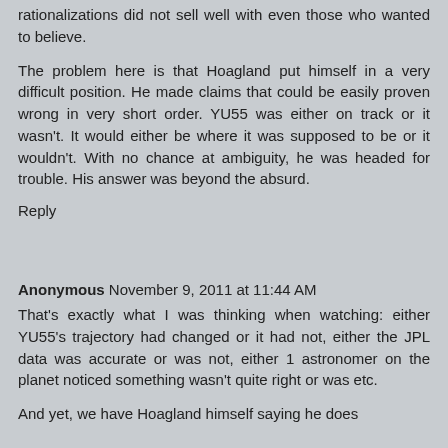rationalizations did not sell well with even those who wanted to believe.
The problem here is that Hoagland put himself in a very difficult position. He made claims that could be easily proven wrong in very short order. YU55 was either on track or it wasn't. It would either be where it was supposed to be or it wouldn't. With no chance at ambiguity, he was headed for trouble. His answer was beyond the absurd.
Reply
Anonymous November 9, 2011 at 11:44 AM
That's exactly what I was thinking when watching: either YU55's trajectory had changed or it had not, either the JPL data was accurate or was not, either 1 astronomer on the planet noticed something wasn't quite right or was etc.
And yet, we have Hoagland himself saying he does